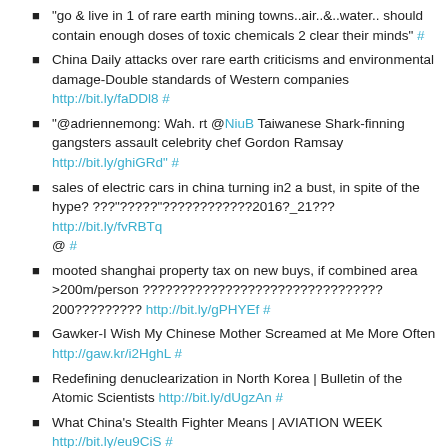"go & live in 1 of rare earth mining towns..air..&..water.. should contain enough doses of toxic chemicals 2 clear their minds" #
China Daily attacks over rare earth criticisms and environmental damage-Double standards of Western companies http://bit.ly/faDDl8 #
"@adriennemong: Wah. rt @NiuB Taiwanese Shark-finning gangsters assault celebrity chef Gordon Ramsay http://bit.ly/ghiGRd" #
sales of electric cars in china turning in2 a bust, in spite of the hype? ???"?????"????????????2016?_21??? http://bit.ly/fvRBTq @ #
mooted shanghai property tax on new buys, if combined area >200m/person ???????????????????????????????? 200????????? http://bit.ly/gPHYEf #
Gawker-I Wish My Chinese Mother Screamed at Me More Often http://gaw.kr/i2HghL #
Redefining denuclearization in North Korea | Bulletin of the Atomic Scientists http://bit.ly/dUgzAn #
What China's Stealth Fighter Means | AVIATION WEEK http://bit.ly/eu9CiS #
Government-created climate of fear – Glenn Greenwald -in US. Will resonate w any1 living in China http://bit.ly/hwnH0a #
McKinsey on China's cities http://bit.ly/eJnq0k 40 % of urban pop